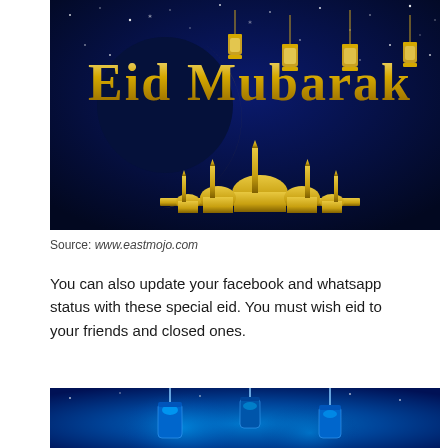[Figure (illustration): Eid Mubarak greeting card image with dark navy blue starry background, large golden crescent moon on left, golden silhouette of mosque/domes at base of moon, multiple hanging golden lanterns, and large gold text reading 'Eid Mubarak']
Source: www.eastmojo.com
You can also update your facebook and whatsapp status with these special eid. You must wish eid to your friends and closed ones.
[Figure (illustration): Blue glowing background with hanging illuminated lanterns, sparkles and light bokeh effects — partial view of an Eid Mubarak greeting image]